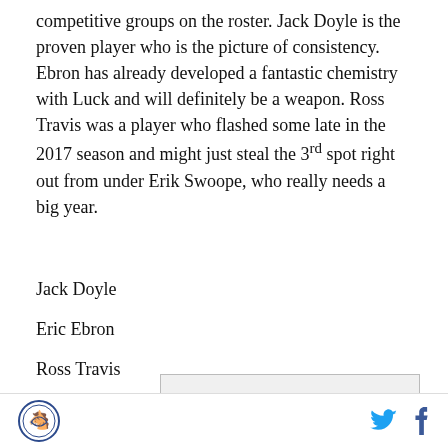competitive groups on the roster. Jack Doyle is the proven player who is the picture of consistency. Ebron has already developed a fantastic chemistry with Luck and will definitely be a weapon. Ross Travis was a player who flashed some late in the 2017 season and might just steal the 3rd spot right out from under Erik Swoope, who really needs a big year.
Jack Doyle
Eric Ebron
Ross Travis
[Figure (logo): Samsung advertisement banner with Samsung logo text in bold dark letters on light gray background]
Footer with circular horse logo on left and Twitter and Facebook social icons on right